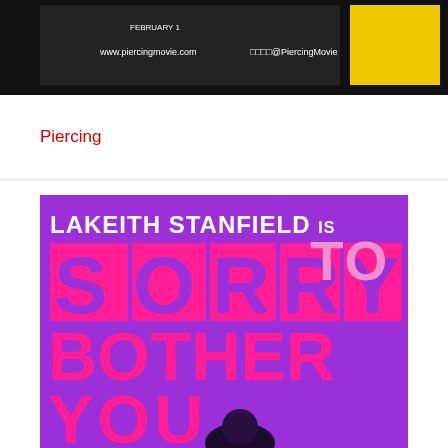[Figure (photo): Top portion of a movie poster for 'Piercing' showing website www.piercingmovie.com and social media handle @PiercingMovie on a black/yellow background]
Piercing
[Figure (photo): Movie poster for 'Sorry to Bother You' featuring large block letters in pink/magenta against a purple background. Text reads 'LAKEITH STANFIELD is SORRY TO BOTHER YOU']